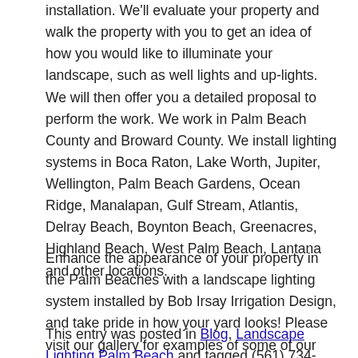installation. We'll evaluate your property and walk the property with you to get an idea of how you would like to illuminate your landscape, such as well lights and up-lights. We will then offer you a detailed proposal to perform the work. We work in Palm Beach County and Broward County. We install lighting systems in Boca Raton, Lake Worth, Jupiter, Wellington, Palm Beach Gardens, Ocean Ridge, Manalapan, Gulf Stream, Atlantis, Delray Beach, Boynton Beach, Greenacres, Highland Beach, West Palm Beach, Lantana and other locations.
Enhance the appearance of your property in the Palm Beaches with a landscape lighting system installed by Bob Irsay Irrigation Design, and take pride in how your yard looks! Please visit our gallery for examples of some of our landscape lighting jobs.
This entry was posted in Blog, Landscape Lighting Palm Beach and tagged (561) 734-3997, accentuate palm trees, add to your curb